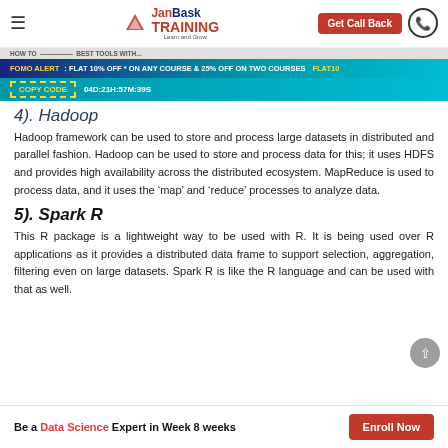JanBask TRAINING Learn and Grow | Get Call Back
HOW TO ... ... BEST TOOLS WITH...
FOMO ALERT : FLAT 10% OFF * ON ANY COURSE & 25% OFF ON TWO COURSES FLAT10  COPY CODE  04D:21H:57M:39S
4). Hadoop
Hadoop framework can be used to store and process large datasets in distributed and parallel fashion. Hadoop can be used to store and process data for this; it uses HDFS and provides high availability across the distributed ecosystem. MapReduce is used to process data, and it uses the ‘map’ and ‘reduce’ processes to analyze data.
5). Spark R
This R package is a lightweight way to be used with R. It is being used over R applications as it provides a distributed data frame to support selection, aggregation, filtering even on large datasets. Spark R is like the R language and can be used with that as well.
Be a Data Science Expert in Week 8 weeks  Enroll Now